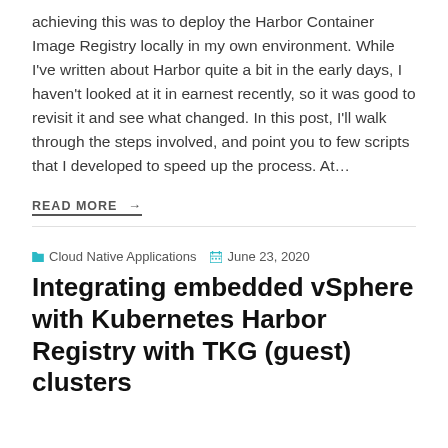achieving this was to deploy the Harbor Container Image Registry locally in my own environment. While I've written about Harbor quite a bit in the early days, I haven't looked at it in earnest recently, so it was good to revisit it and see what changed. In this post, I'll walk through the steps involved, and point you to few scripts that I developed to speed up the process. At…
READ MORE →
Cloud Native Applications   June 23, 2020
Integrating embedded vSphere with Kubernetes Harbor Registry with TKG (guest) clusters